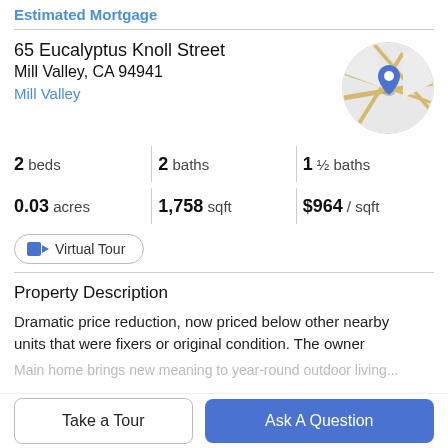Estimated Mortgage
65 Eucalyptus Knoll Street
Mill Valley, CA 94941
Mill Valley
[Figure (map): Circular map thumbnail with blue location pin marker over street map]
2 beds  |  2 baths  |  1 ½ baths
0.03 acres  |  1,758 sqft  |  $964 / sqft
Virtual Tour
Property Description
Dramatic price reduction, now priced below other nearby units that were fixers or original condition. The owner
Take a Tour
Ask A Question